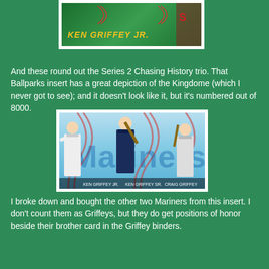[Figure (photo): Baseball card featuring Ken Griffey Jr. with yellow text name on green background]
And these round out the Series 2 Chasing History trio.  That Ballparks insert has a great depiction of the Kingdome (which I never got to see); and it doesn't look like it, but it's numbered out of 8000.
[Figure (photo): Baseball card showing three Mariners players on a blue background with baseball stitching design]
I broke down and bought the other two Mariners from this insert.  I don't count them as Griffeys, but they do get positions of honor beside their brother card in the Griffey binders.